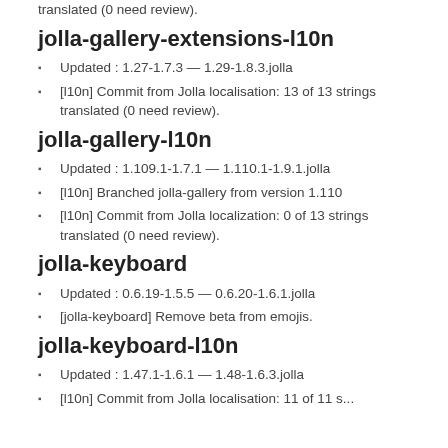translated (0 need review).
jolla-gallery-extensions-l10n
Updated : 1.27-1.7.3 — 1.29-1.8.3.jolla
[l10n] Commit from Jolla localisation: 13 of 13 strings translated (0 need review).
jolla-gallery-l10n
Updated : 1.109.1-1.7.1 — 1.110.1-1.9.1.jolla
[l10n] Branched jolla-gallery from version 1.110
[l10n] Commit from Jolla localization: 0 of 13 strings translated (0 need review).
jolla-keyboard
Updated : 0.6.19-1.5.5 — 0.6.20-1.6.1.jolla
[jolla-keyboard] Remove beta from emojis.
jolla-keyboard-l10n
Updated : 1.47.1-1.6.1 — 1.48-1.6.3.jolla
[l10n] Commit from Jolla localisation: 11 of 11 s...